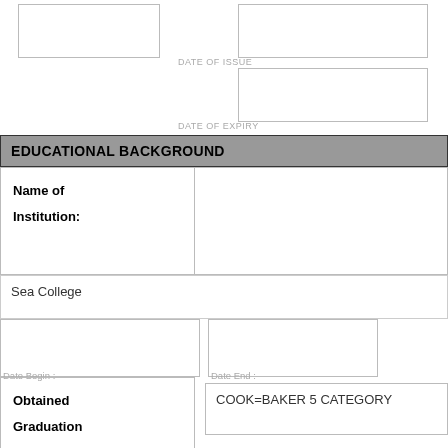DATE OF ISSUE
DATE OF EXPIRY
EDUCATIONAL BACKGROUND
Name of Institution:
Sea College
Date Begin
Date End
Obtained Graduation Degree:
COOK=BAKER 5 CATEGORY
Name of Institution: